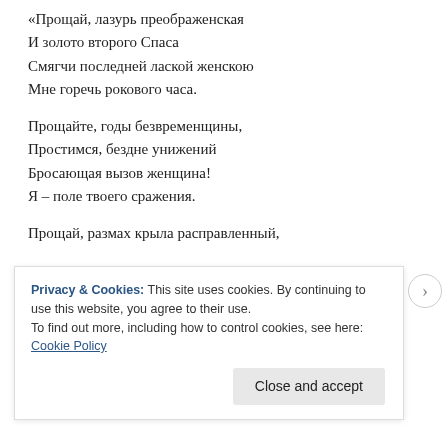«Прощай, лазурь преображенская
И золото второго Спаса
Смягчи последней лаской женскою
Мне горечь рокового часа.

Прощайте, годы безвременщины,
Простимся, бездне унижений
Бросающая вызов женщина!
Я – поле твоего сражения.

Прощай, размах крыла расправленный,
Privacy & Cookies: This site uses cookies. By continuing to use this website, you agree to their use.
To find out more, including how to control cookies, see here: Cookie Policy